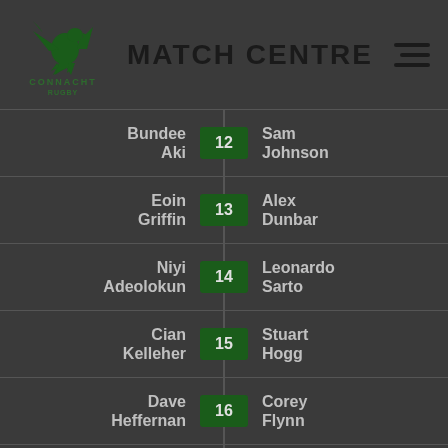MATCH CENTRE
| Left Player | Number | Right Player |
| --- | --- | --- |
| Bundee Aki | 12 | Sam Johnson |
| Eoin Griffin | 13 | Alex Dunbar |
| Niyi Adeolokun | 14 | Leonardo Sarto |
| Cian Kelleher | 15 | Stuart Hogg |
| Dave Heffernan | 16 | Corey Flynn |
| Ronan Loughney | 17 | Ryan Grant |